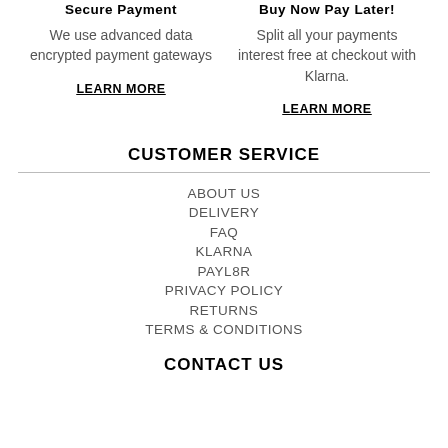Secure Payment
We use advanced data encrypted payment gateways
LEARN MORE
Buy Now Pay Later!
Split all your payments interest free at checkout with Klarna.
LEARN MORE
CUSTOMER SERVICE
ABOUT US
DELIVERY
FAQ
KLARNA
PAYL8R
PRIVACY POLICY
RETURNS
TERMS & CONDITIONS
CONTACT US